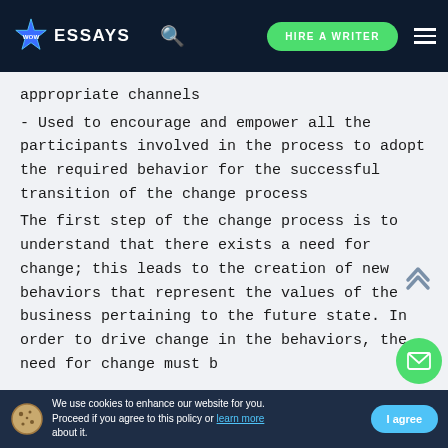WOW ESSAYS  [search]  HIRE A WRITER  [menu]
appropriate channels
- Used to encourage and empower all the participants involved in the process to adopt the required behavior for the successful transition of the change process
The first step of the change process is to understand that there exists a need for change; this leads to the creation of new behaviors that represent the values of the business pertaining to the future state. In order to drive change in the behaviors, the need for change must b...
We use cookies to enhance our website for you. Proceed if you agree to this policy or learn more about it.  [I agree]